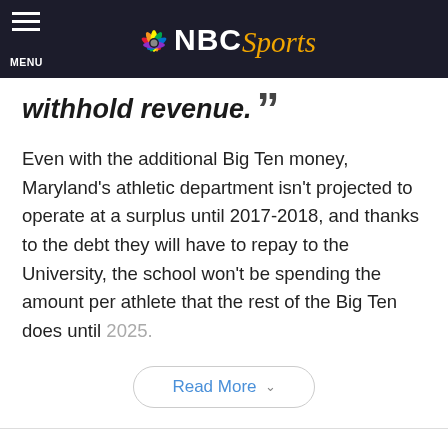MENU | NBC Sports
withhold revenue. ”
Even with the additional Big Ten money, Maryland's athletic department isn't projected to operate at a surplus until 2017-2018, and thanks to the debt they will have to repay to the University, the school won't be spending the amount per athlete that the rest of the Big Ten does until 2025.
Read More
View 4 Comments
Taboola Feed